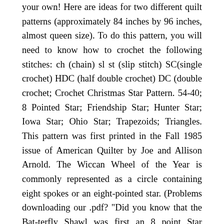your own! Here are ideas for two different quilt patterns (approximately 84 inches by 96 inches, almost queen size). To do this pattern, you will need to know how to crochet the following stitches: ch (chain) sl st (slip stitch) SC(single crochet) HDC (half double crochet) DC (double crochet; Crochet Christmas Star Pattern. 54-40; 8 Pointed Star; Friendship Star; Hunter Star; Iowa Star; Ohio Star; Trapezoids; Triangles. This pattern was first printed in the Fall 1985 issue of American Quilter by Joe and Allison Arnold. The Wiccan Wheel of the Year is commonly represented as a circle containing eight spokes or an eight-pointed star. (Problems downloading our .pdf? &quot;Did you know that the Bat-terfly Shawl was first an 8 point Star Afghan? Row 2 would read " K1, M1, K5, K2tog." The hard-edged lines make it indicative of Moroccan patterns, which are known for their use of straight lines in contrast to the curvilinear arabesque of the Middle East. (Think Half Square Triangles). Its beauty is